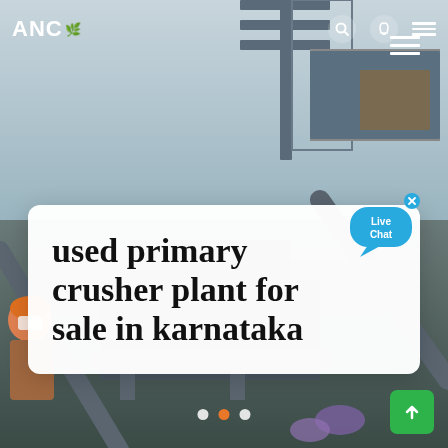ANC
[Figure (photo): Industrial crusher plant machinery with steel frame structure against a light sky background, with workers visible on the left side wearing orange helmets and face masks]
used primary crusher plant for sale in karnataka
[Figure (infographic): Live Chat bubble icon in blue with speech bubble shape and 'x' close button]